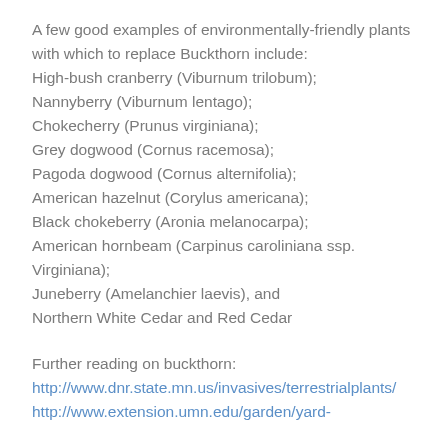A few good examples of environmentally-friendly plants with which to replace Buckthorn include: High-bush cranberry (Viburnum trilobum); Nannyberry (Viburnum lentago); Chokecherry (Prunus virginiana); Grey dogwood (Cornus racemosa); Pagoda dogwood (Cornus alternifolia); American hazelnut (Corylus americana); Black chokeberry (Aronia melanocarpa); American hornbeam (Carpinus caroliniana ssp. Virginiana); Juneberry (Amelanchier laevis), and Northern White Cedar and Red Cedar
Further reading on buckthorn: http://www.dnr.state.mn.us/invasives/terrestrialplants/ http://www.extension.umn.edu/garden/yard-